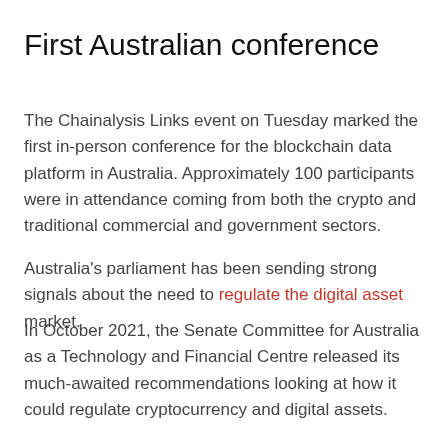First Australian conference
The Chainalysis Links event on Tuesday marked the first in-person conference for the blockchain data platform in Australia. Approximately 100 participants were in attendance coming from both the crypto and traditional commercial and government sectors.
Australia's parliament has been sending strong signals about the need to regulate the digital asset market.
In October 2021, the Senate Committee for Australia as a Technology and Financial Centre released its much-awaited recommendations looking at how it could regulate cryptocurrency and digital assets.